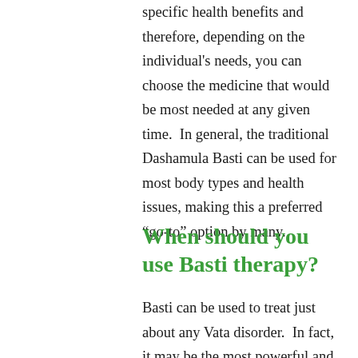specific health benefits and therefore, depending on the individual's needs, you can choose the medicine that would be most needed at any given time.  In general, the traditional Dashamula Basti can be used for most body types and health issues, making this a preferred "go-to" option by many.
When should you use Basti therapy?
Basti can be used to treat just about any Vata disorder.  In fact, it may be the most powerful and effective way to treat Vata